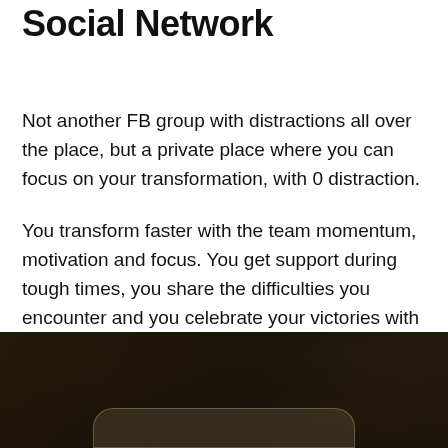Social Network
Not another FB group with distractions all over the place, but a private place where you can focus on your transformation, with 0 distraction.
You transform faster with the team momentum, motivation and focus. You get support during tough times, you share the difficulties you encounter and you celebrate your victories with people who (really) want you to succeed.
[Figure (photo): Dark marble or stone textured background with a mobile device UI element at the bottom]